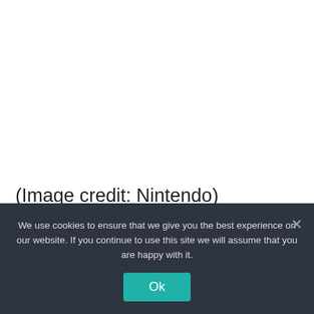(Image credit: Nintendo)
But this is no ordinary Kirby adventure, Forgotten Land is the first fully 3D Kirby game and developer HAL Laboratory isn't
We use cookies to ensure that we give you the best experience on our website. If you continue to use this site we will assume that you are happy with it.
Ok